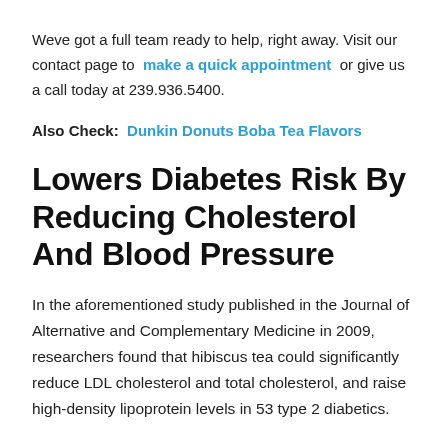Weve got a full team ready to help, right away. Visit our contact page to make a quick appointment or give us a call today at 239.936.5400.
Also Check: Dunkin Donuts Boba Tea Flavors
Lowers Diabetes Risk By Reducing Cholesterol And Blood Pressure
In the aforementioned study published in the Journal of Alternative and Complementary Medicine in 2009, researchers found that hibiscus tea could significantly reduce LDL cholesterol and total cholesterol, and raise high-density lipoprotein levels in 53 type 2 diabetics.